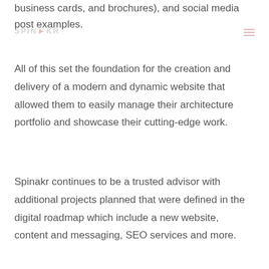SPINAKR
business cards, and brochures), and social media post examples.
All of this set the foundation for the creation and delivery of a modern and dynamic website that allowed them to easily manage their architecture portfolio and showcase their cutting-edge work.
Spinakr continues to be a trusted advisor with additional projects planned that were defined in the digital roadmap which include a new website, content and messaging, SEO services and more.